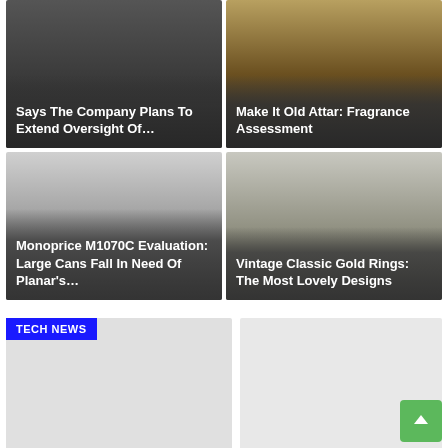[Figure (screenshot): Top-left card with dark photo background and overlay title: 'Says The Company Plans To Extend Oversight Of...']
[Figure (screenshot): Top-right card with dark/amber photo background and overlay title: 'Make It Old Attar: Fragrance Assessment']
[Figure (screenshot): Bottom-left card with light gray background and overlay title: 'Monoprice M1070C Evaluation: Large Cans Fall In Need Of Planar's...']
[Figure (screenshot): Bottom-right card with light gray background and overlay title: 'Vintage Classic Gold Rings: The Most Lovely Designs']
TECH NEWS
[Figure (photo): Large article image placeholder with TECH NEWS badge, light gray background]
[Figure (photo): Right side article image placeholder, light gray background]
'For the primary time in historical past anybody can be a part of a conflict':…
EDITOR • Mar 14, 2022